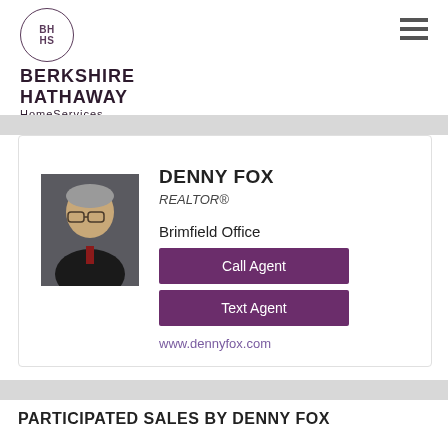[Figure (logo): Berkshire Hathaway HomeServices Stouffer Realty logo with circular BH/HS emblem]
[Figure (photo): Headshot photo of Denny Fox, a middle-aged man with glasses and grey hair wearing a dark shirt]
DENNY FOX
REALTOR®
Brimfield Office
Call Agent
Text Agent
www.dennyfox.com
PARTICIPATED SALES BY DENNY FOX